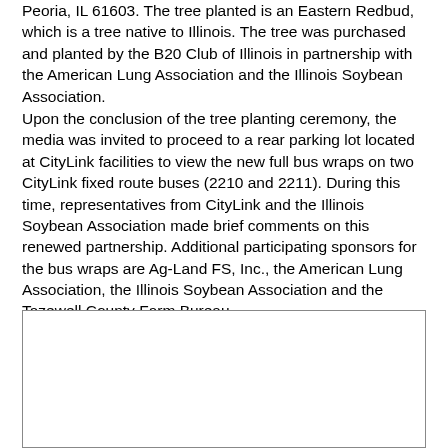Peoria, IL 61603. The tree planted is an Eastern Redbud, which is a tree native to Illinois. The tree was purchased and planted by the B20 Club of Illinois in partnership with the American Lung Association and the Illinois Soybean Association.
Upon the conclusion of the tree planting ceremony, the media was invited to proceed to a rear parking lot located at CityLink facilities to view the new full bus wraps on two CityLink fixed route buses (2210 and 2211). During this time, representatives from CityLink and the Illinois Soybean Association made brief comments on this renewed partnership. Additional participating sponsors for the bus wraps are Ag-Land FS, Inc., the American Lung Association, the Illinois Soybean Association and the Tazewell County Farm Bureau.
[Figure (photo): A photograph or image, partially visible, with a light border around it.]